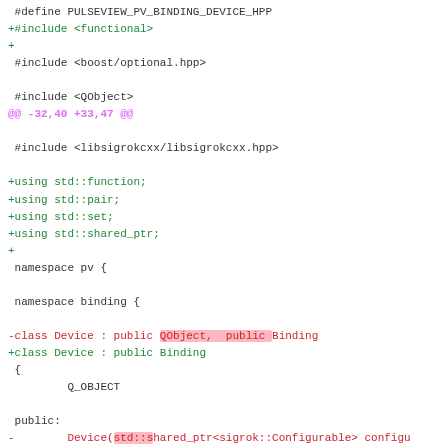#define PULSEVIEW_PV_BINDING_DEVICE_HPP
+#include <functional>
+
 #include <boost/optional.hpp>

 #include <QObject>
@@ -32,40 +33,47 @@

 #include <libsigrokcxx/libsigrokcxx.hpp>

+using std::function;
+using std::pair;
+using std::set;
+using std::shared_ptr;
+
 namespace pv {

 namespace binding {

-class Device : public QObject, public Binding
+class Device : public Binding
 {
         Q_OBJECT

 public:
-        Device(std::shared_ptr<sigrok::Configurable> configu
+        Device(shared_ptr<sigrok::Configurable> configurable

 Q_SIGNALS:
         void config_changed();